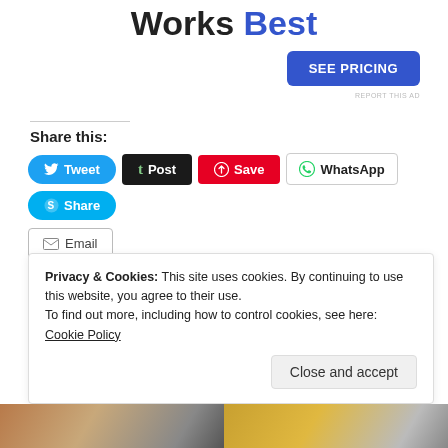Works Best
[Figure (other): SEE PRICING button (blue rounded rectangle)]
REPORT THIS AD
Share this:
[Figure (other): Social share buttons: Tweet, Post, Save, WhatsApp, Share, Email]
Loading...
Privacy & Cookies: This site uses cookies. By continuing to use this website, you agree to their use.
To find out more, including how to control cookies, see here: Cookie Policy
[Figure (other): Close and accept button]
[Figure (photo): Two thumbnail images at bottom of page]